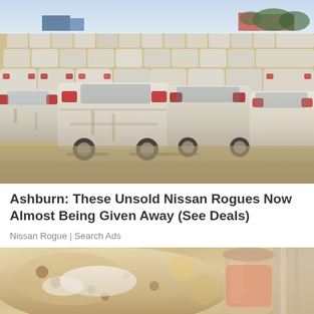[Figure (photo): Large lot of dusty white Nissan Rogue SUVs parked in rows on a sandy/dirt surface, viewed from rear, with industrial buildings and trees in background under a hazy sky.]
Ashburn: These Unsold Nissan Rogues Now Almost Being Given Away (See Deals)
Nissan Rogue | Search Ads
[Figure (photo): Close-up photo of food items including what appears to be flatbread/naan and other food with a cup or container visible on the right side.]